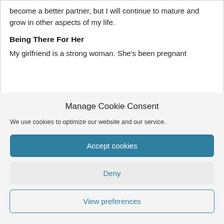become a better partner, but I will continue to mature and grow in other aspects of my life.
Being There For Her
My girlfriend is a strong woman. She's been pregnant
Manage Cookie Consent
We use cookies to optimize our website and our service.
Accept cookies
Deny
View preferences